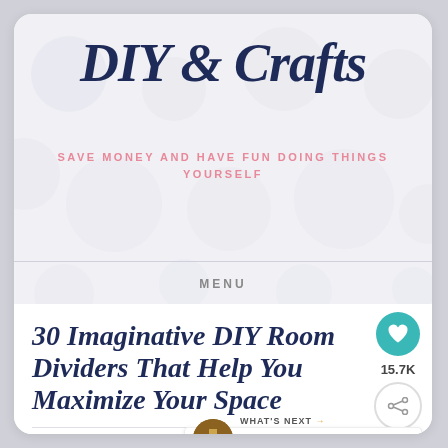DIY & Crafts
SAVE MONEY AND HAVE FUN DOING THINGS YOURSELF
MENU
30 Imaginative DIY Room Dividers That Help You Maximize Your Space
APRIL 6, 2018 | BY VANESSA BEATY | 3 COMM...
WHAT'S NEXT → 30 Genius Ways to Reu...
15.7K